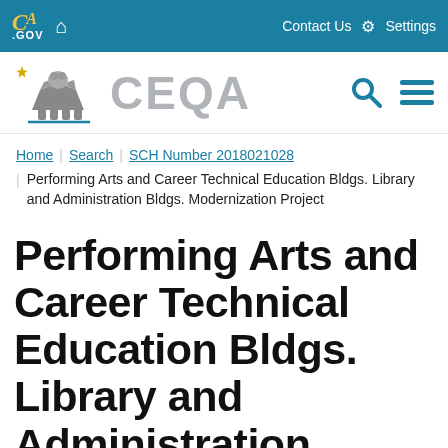[Figure (screenshot): California .gov and CEQA website header navigation bar with teal background, CA.gov logo, home icon, Contact Us and Settings links]
[Figure (logo): CEQA California Environmental Quality Act logo with California bear graphic and search/menu icons]
Home | Search | SCH Number 2018021028 | Performing Arts and Career Technical Education Bldgs. Library and Administration Bldgs. Modernization Project
Performing Arts and Career Technical Education Bldgs. Library and Administration